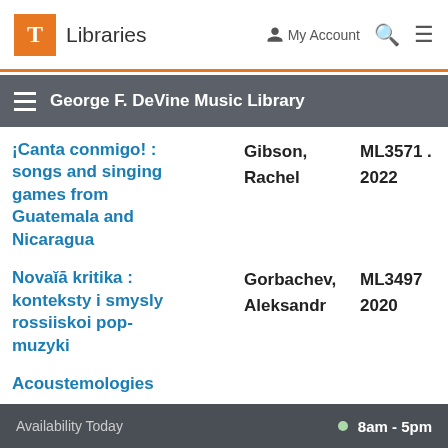T Libraries | My Account | Search | Menu
George F. DeVine Music Library
| Title | Author | Call Number / Year |
| --- | --- | --- |
| ¡Canta conmigo! : songs and singing games from Guatemala and Nicaragua | Gibson, Rachel | ML3571 . 2022 |
| Novaia kritika : konteksty i smysly rossiiskoi pop-muzyki | Gorbachev, Aleksandr | ML3497 2020 |
| Acoustemologies |  |  |
Availability Today  8am - 5pm